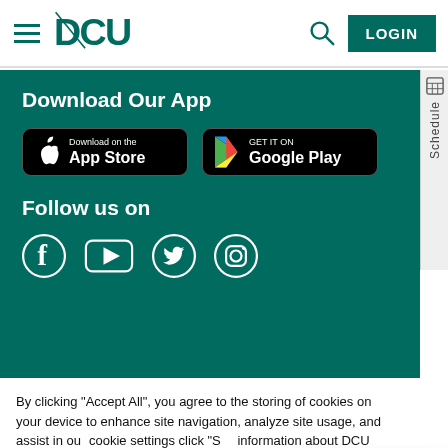[Figure (logo): DCU credit union logo with hamburger menu, search icon, and LOGIN button]
Download Our App
[Figure (screenshot): App Store and Google Play download buttons on dark green background]
Follow us on
[Figure (infographic): Social media icons: Facebook, YouTube, Twitter, Instagram]
By clicking “Accept All”, you agree to the storing of cookies on your device to enhance site navigation, analyze site usage, and assist in our cookie settings click “S... information about DCU... please review our Priv...
Policy
DCU Assistant
Hi, anything I can help you with?
Select my Preferences
Accept All